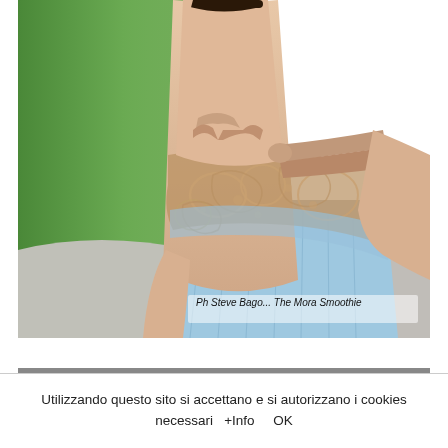[Figure (photo): Close-up fashion photo of a woman wearing a beige/nude top with bow detail and blue pleated skirt with tan lace overlay. Green grass background. Caption reads: Ph Steve Bago... The Mora Smoothie]
Ph Steve Bago... The Mora Smoothie
[Figure (photo): Partially visible second fashion photo at the bottom of the page]
Utilizzando questo sito si accettano e si autorizzano i cookies necessari  +Info     OK